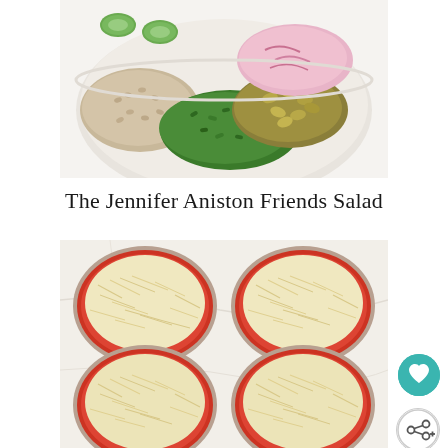[Figure (photo): Overhead view of a white bowl containing salad ingredients: bulgur or farro grains, chopped green herbs (parsley/kale), pistachios, sliced cucumbers, and pink-red onion with dressing]
The Jennifer Aniston Friends Salad
[Figure (photo): Four round pizza pans or tart tins topped with red sauce and shredded white cheese (mozzarella/parmesan), arranged in a 2x2 grid on a white marble surface, ready to be baked]